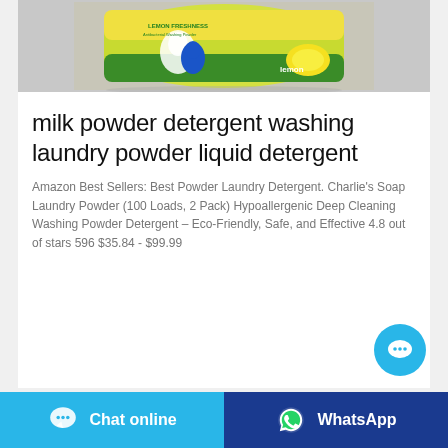[Figure (photo): Product photo of a yellow/green laundry detergent powder bag with lemon design on a grey background]
milk powder detergent washing laundry powder liquid detergent
Amazon Best Sellers: Best Powder Laundry Detergent. Charlie's Soap Laundry Powder (100 Loads, 2 Pack) Hypoallergenic Deep Cleaning Washing Powder Detergent – Eco-Friendly, Safe, and Effective 4.8 out of stars 596 $35.84 - $99.99